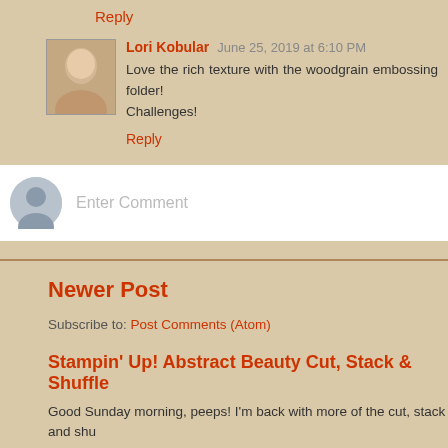Reply
Lori Kobular  June 25, 2019 at 6:10 PM
Love the rich texture with the woodgrain embossing folder! Challenges!
Reply
Enter Comment
Newer Post
Subscribe to: Post Comments (Atom)
Stampin' Up! Abstract Beauty Cut, Stack & Shuffle
Good Sunday morning, peeps! I'm back with more of the cut, stack and shu